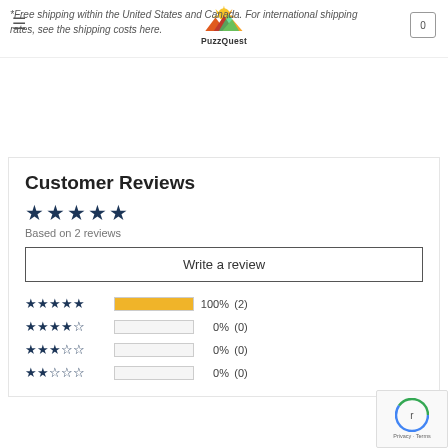PuzzQuest — hamburger menu, logo, cart (0)
*Free shipping within the United States and Canada. For international shipping rates, see the shipping costs here.
Customer Reviews
★★★★★ Based on 2 reviews
Write a review
[Figure (bar-chart): Rating distribution]